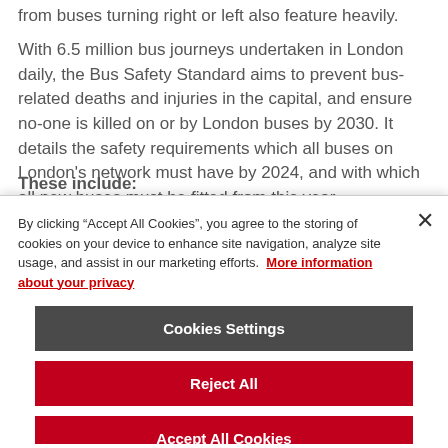from buses turning right or left also feature heavily.
With 6.5 million bus journeys undertaken in London daily, the Bus Safety Standard aims to prevent bus-related deaths and injuries in the capital, and ensure no-one is killed on or by London buses by 2030. It details the safety requirements which all buses on London's network must have by 2024, and with which all new buses must be fitted from this year.
These include:
By clicking “Accept All Cookies”, you agree to the storing of cookies on your device to enhance site navigation, analyze site usage, and assist in our marketing efforts. More information about your privacy
Cookies Settings
Reject All
Accept All Cookies